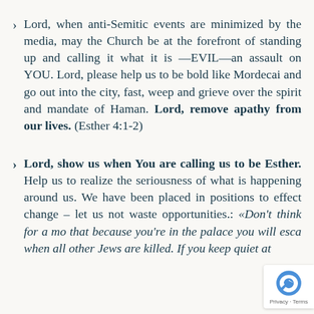Lord, when anti-Semitic events are minimized by the media, may the Church be at the forefront of standing up and calling it what it is —EVIL—an assault on YOU. Lord, please help us to be bold like Mordecai and go out into the city, fast, weep and grieve over the spirit and mandate of Haman. Lord, remove apathy from our lives. (Esther 4:1-2)
Lord, show us when You are calling us to be Esther. Help us to realize the seriousness of what is happening around us. We have been placed in positions to effect change – let us not waste opportunities.: «Don't think for a mo that because you're in the palace you will esca when all other Jews are killed. If you keep quiet at